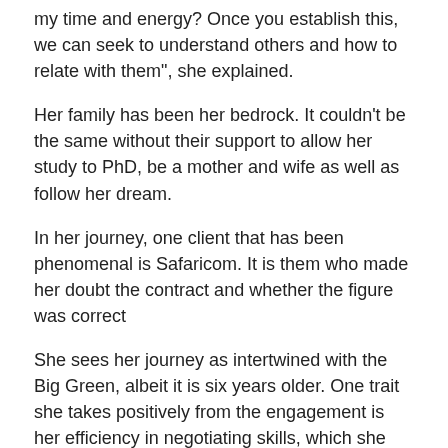my time and energy? Once you establish this, we can seek to understand others and how to relate with them", she explained.
Her family has been her bedrock. It couldn't be the same without their support to allow her study to PhD, be a mother and wife as well as follow her dream.
In her journey, one client that has been phenomenal is Safaricom. It is them who made her doubt the contract and whether the figure was correct
She sees her journey as intertwined with the Big Green, albeit it is six years older. One trait she takes positively from the engagement is her efficiency in negotiating skills, which she has gained over time working on different assignments with them.